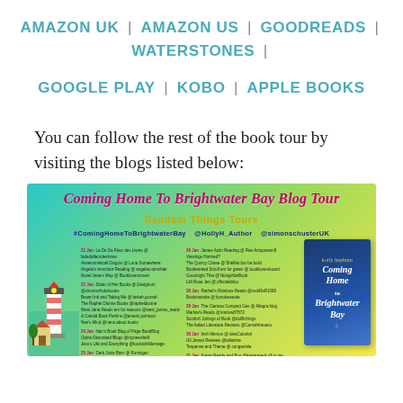AMAZON UK | AMAZON US | GOODREADS | WATERSTONES |
GOOGLE PLAY | KOBO | APPLE BOOKS
You can follow the rest of the book tour by visiting the blogs listed below:
[Figure (infographic): Coming Home To Brightwater Bay Blog Tour banner with Random Things Tours branding, hashtags, book cover, lighthouse illustration, and schedule of blog tour dates listing various blogs across multiple dates in January.]